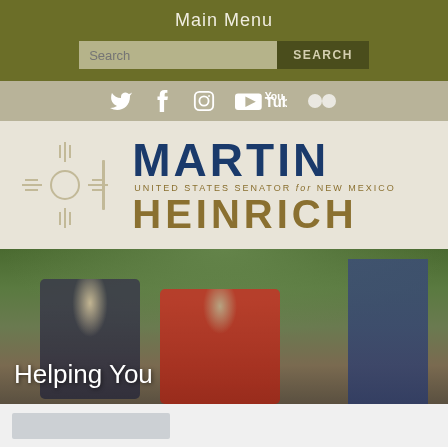Main Menu
Search / SEARCH button
[Figure (screenshot): Social media icons: Twitter, Facebook, Instagram, YouTube, Flickr]
[Figure (logo): Martin Heinrich - United States Senator for New Mexico logo with Zia sun symbol]
[Figure (photo): Photo of Senator Martin Heinrich speaking with a veteran in a wheelchair outdoors, with greenery in background]
Helping You
[Figure (screenshot): Partial view of a card/thumbnail at bottom of page]